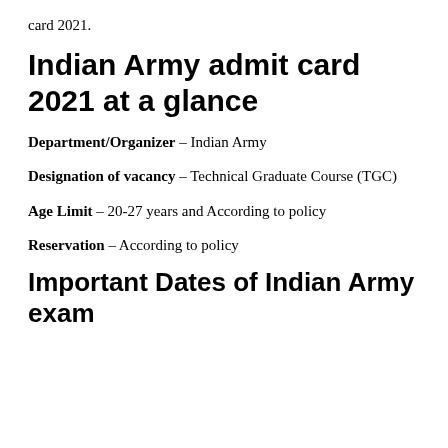card 2021.
Indian Army admit card 2021 at a glance
Department/Organizer – Indian Army
Designation of vacancy – Technical Graduate Course (TGC)
Age Limit – 20-27 years and According to policy
Reservation – According to policy
Important Dates of Indian Army exam